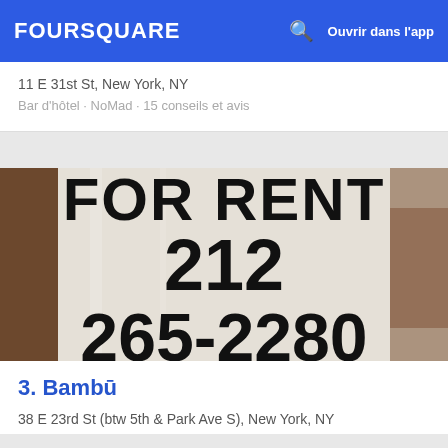FOURSQUARE  Ouvrir dans l'app
11 E 31st St, New York, NY
Bar d'hôtel · NoMad · 15 conseils et avis
[Figure (photo): Photo of a storefront window showing a FOR RENT sign with phone number 212 265-2280]
3. Bambū
38 E 23rd St (btw 5th & Park Ave S), New York, NY
Lieu servant des desserts · NoMad · 3 conseils et avis